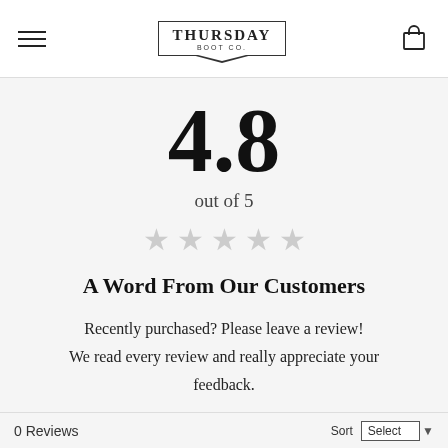Thursday Boot Co.
4.8
out of 5
[Figure (other): Five grey star rating icons]
A Word From Our Customers
Recently purchased? Please leave a review! We read every review and really appreciate your feedback.
0 Reviews  Sort  Select